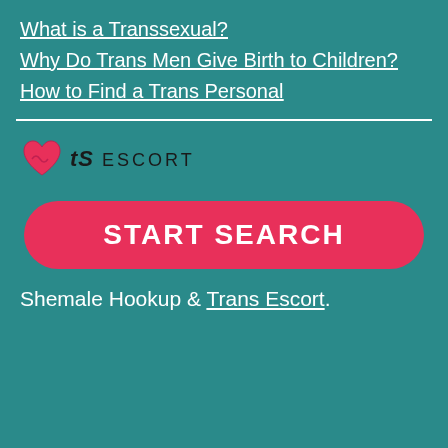What is a Transsexual?
Why Do Trans Men Give Birth to Children?
How to Find a Trans Personal
[Figure (logo): TS Escort logo with a red heart icon on the left and the text 'TS ESCORT' in stylized lettering]
START SEARCH
Shemale Hookup & Trans Escort.